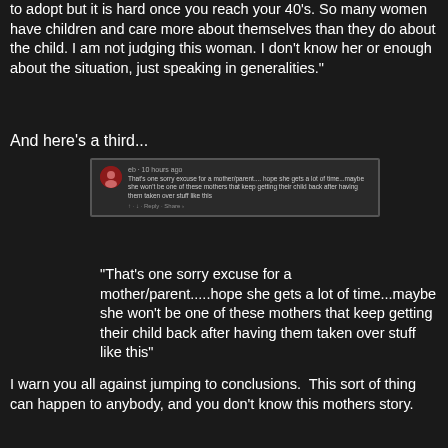to adopt but it is hard once you reach your 40's. So many women have children and care more about themselves than they do about the child. I am not judging this woman. I don't know her or enough about the situation, just speaking in generalities."
And here's a third...
[Figure (screenshot): Screenshot of a social media comment: 'That's one sorry excuse for a mother/parent.... hope she gets a lot of time...maybe she won't be one of these mothers that keep getting their child back after having them taken over stuff like this']
"That's one sorry excuse for a mother/parent.....hope she gets a lot of time...maybe she won't be one of these mothers that keep getting their child back after having them taken over stuff like this"
I warn you all against jumping to conclusions.  This sort of thing can happen to anybody, and you don't know this mothers story.